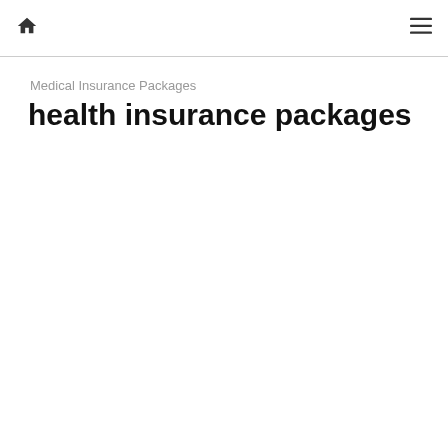🏠  ≡
Medical Insurance Packages
health insurance packages